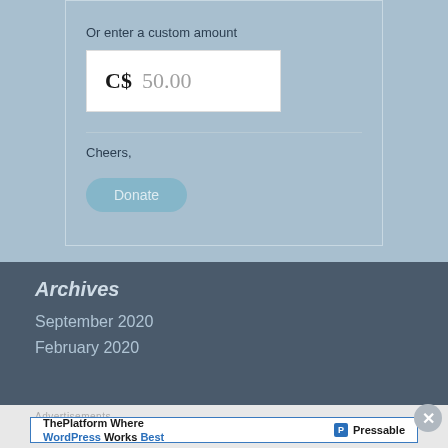Or enter a custom amount
C$  50.00
Cheers,
Donate
Archives
September 2020
February 2020
Advertisements
[Figure (screenshot): Pressable advertisement banner: 'ThePlatform Where WordPress Works Best' with Pressable logo]